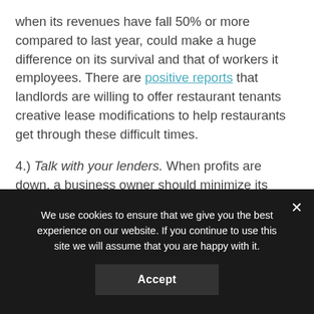when its revenues have fall 50% or more compared to last year, could make a huge difference on its survival and that of workers it employees. There are positive reports that landlords are willing to offer restaurant tenants creative lease modifications to help restaurants get through these difficult times.
4.) Talk with your lenders. When profits are down, a business owner should minimize its expenses. Restaurant owners should not default on paying their loans because that could lead to bigger problems, but they should ask lenders for a
We use cookies to ensure that we give you the best experience on our website. If you continue to use this site we will assume that you are happy with it.